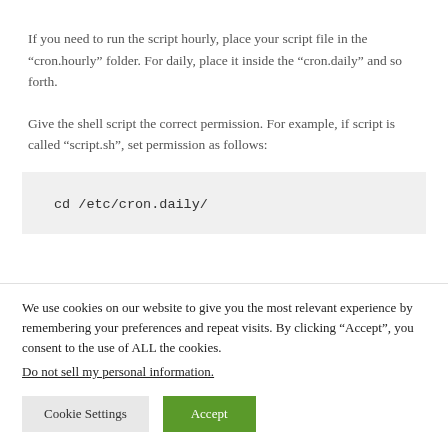If you need to run the script hourly, place your script file in the “cron.hourly” folder. For daily, place it inside the “cron.daily” and so forth.
Give the shell script the correct permission. For example, if script is called “script.sh”, set permission as follows:
cd /etc/cron.daily/
We use cookies on our website to give you the most relevant experience by remembering your preferences and repeat visits. By clicking “Accept”, you consent to the use of ALL the cookies.
Do not sell my personal information.
Cookie Settings | Accept